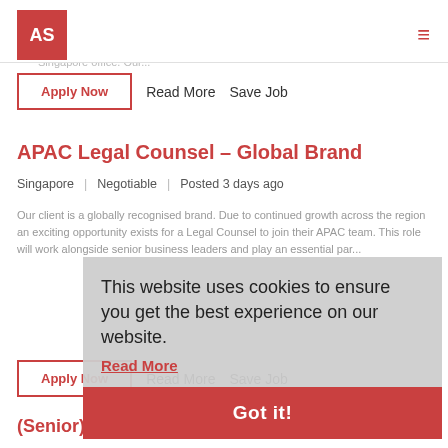AS (logo) | hamburger menu
your career and join a high performing business. Our fast paced and dynamic client are seeking an experienced technology recruitment consultant to join their regional talent acquisition function, based in their Singapore office. Our...
Apply Now | Read More | Save Job
APAC Legal Counsel – Global Brand
Singapore | Negotiable | Posted 3 days ago
Our client is a globally recognised brand. Due to continued growth across the region an exciting opportunity exists for a Legal Counsel to join their APAC team. This role will work alongside senior business leaders and play an essential par...
This website uses cookies to ensure you get the best experience on our website.
Read More
Got it!
Apply Now | Read More | Save Job
(Senior) Manager – Regional IT...